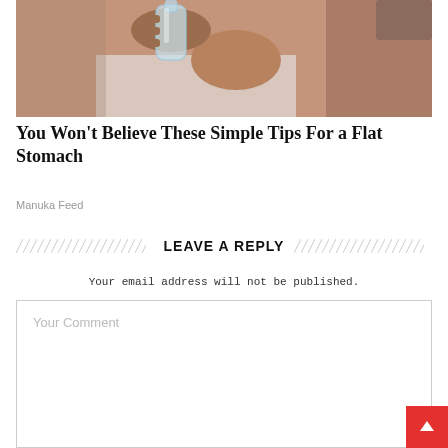[Figure (photo): Close-up of a person drinking water from a glass bottle, tilting their head back. Person appears to have brown skin, white shirt. Background is light/grey.]
You Won't Believe These Simple Tips For a Flat Stomach
Manuka Feed
LEAVE A REPLY
Your email address will not be published.
Your Comment